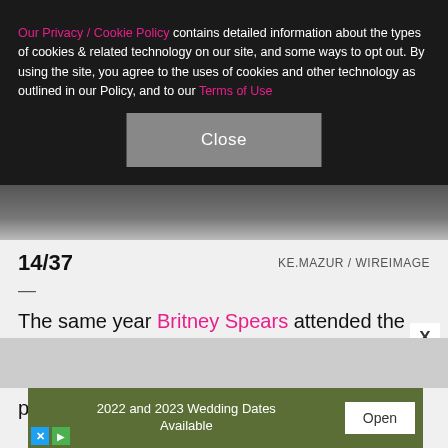Our Privacy / Cookie Policy contains detailed information about the types of cookies & related technology on our site, and some ways to opt out. By using the site, you agree to the uses of cookies and other technology as outlined in our Policy, and to our Terms of Use
[Figure (screenshot): Close button (gray rectangular button with white text 'Close')]
[Figure (photo): Partial photo strip visible behind the cookie overlay]
14/37   KE.MAZUR / WIREIMAGE
—
The same year Britney Spears attended the VMAs for the first time, so did fellow pop star Christina Aguilera. Xtina was on hand to present best rock video with Tommy Lee.
[Figure (screenshot): Advertisement banner: '2022 and 2023 Wedding Dates Available' with Open button on olive/green background]